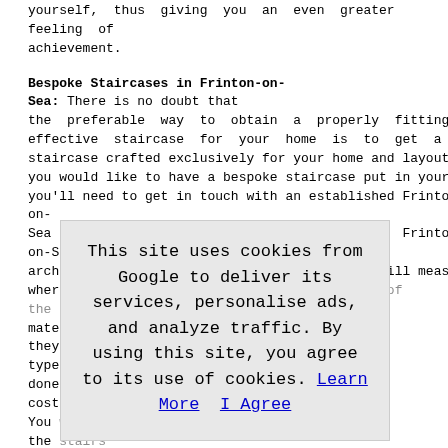yourself, thus giving you an even greater feeling of achievement.
Bespoke Staircases in Frinton-on-Sea: There is no doubt that the preferable way to obtain a properly fitting and effective staircase for your home is to get a bespoke staircase crafted exclusively for your home and layout. If you would like to have a bespoke staircase put in your house you'll need to get in touch with an established Frinton-on-Sea staircase fitter and perhaps a local Frinton-on-Sea architect or surveyor as well, these experts will measure up where your staircase is to fit and advise you of the best mate... they... type... done... cost... You... the... cha... sta... pro... ano... for... this... fit... staircase will need to fit comfortably within the available
This site uses cookies from Google to deliver its services, personalise ads, and analyze traffic. By using this site, you agree to its use of cookies. Learn More  I Agree